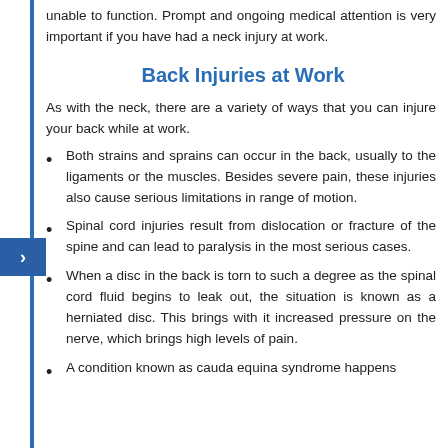unable to function. Prompt and ongoing medical attention is very important if you have had a neck injury at work.
Back Injuries at Work
As with the neck, there are a variety of ways that you can injure your back while at work.
Both strains and sprains can occur in the back, usually to the ligaments or the muscles. Besides severe pain, these injuries also cause serious limitations in range of motion.
Spinal cord injuries result from dislocation or fracture of the spine and can lead to paralysis in the most serious cases.
When a disc in the back is torn to such a degree as the spinal cord fluid begins to leak out, the situation is known as a herniated disc. This brings with it increased pressure on the nerve, which brings high levels of pain.
A condition known as cauda equina syndrome happens